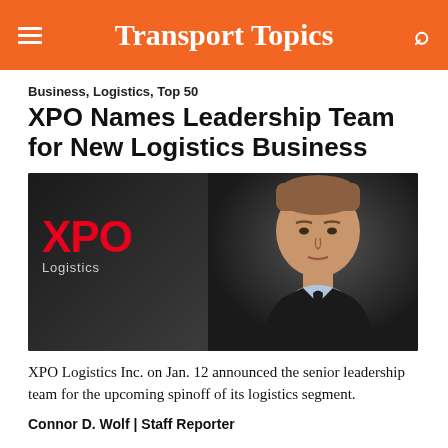Transport Topics
Business, Logistics, Top 50
XPO Names Leadership Team for New Logistics Business
[Figure (photo): Professional headshot of a man in a dark suit with XPO Logistics logo visible on dark background]
XPO Logistics Inc. on Jan. 12 announced the senior leadership team for the upcoming spinoff of its logistics segment.
Connor D. Wolf | Staff Reporter